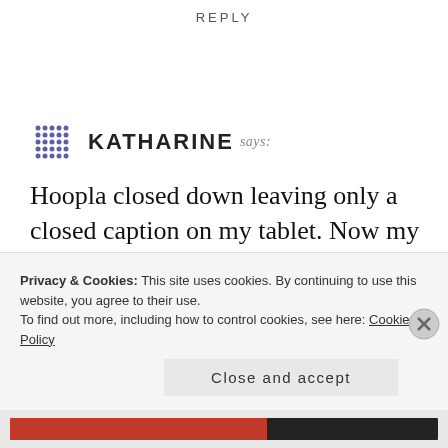REPLY
KATHARINE says:
Hoopla closed down leaving only a closed caption on my tablet. Now my tablet is on but not working. No response at all. I have the app on my tablet. What do I do? I cannot log in to Hoopla as the e-mail I registered when I signed up with Hoopla is shown as invalid, and I cannot access Hoopla at all.
Privacy & Cookies: This site uses cookies. By continuing to use this website, you agree to their use.
To find out more, including how to control cookies, see here: Cookie Policy
Close and accept